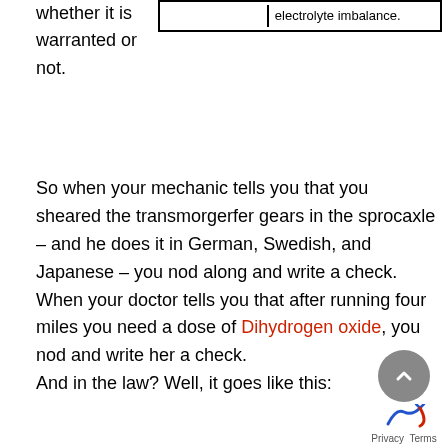whether it is warranted or not.
|  | electrolyte imbalance. |
So when your mechanic tells you that you sheared the transmorgerfer gears in the sprocaxle – and he does it in German, Swedish, and Japanese – you nod along and write a check. When your doctor tells you that after running four miles you need a dose of Dihydrogen oxide, you nod and write her a check.
And in the law? Well, it goes like this: